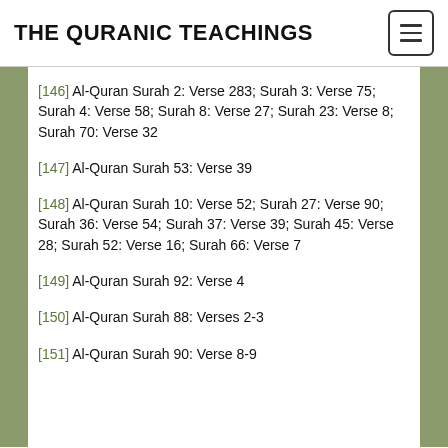THE QURANIC TEACHINGS
[146] Al-Quran Surah 2: Verse 283; Surah 3: Verse 75; Surah 4: Verse 58; Surah 8: Verse 27; Surah 23: Verse 8; Surah 70: Verse 32
[147] Al-Quran Surah 53: Verse 39
[148] Al-Quran Surah 10: Verse 52; Surah 27: Verse 90; Surah 36: Verse 54; Surah 37: Verse 39; Surah 45: Verse 28; Surah 52: Verse 16; Surah 66: Verse 7
[149] Al-Quran Surah 92: Verse 4
[150] Al-Quran Surah 88: Verses 2-3
[151] Al-Quran Surah 90: Verse 8-9